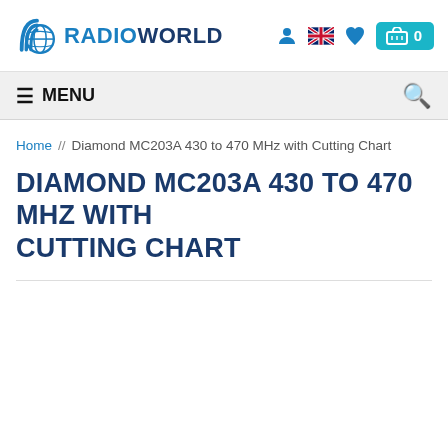RADIOWORLD — header with logo, icons, basket
≡ MENU | Search
Home // Diamond MC203A 430 to 470 MHz with Cutting Chart
DIAMOND MC203A 430 TO 470 MHZ WITH CUTTING CHART